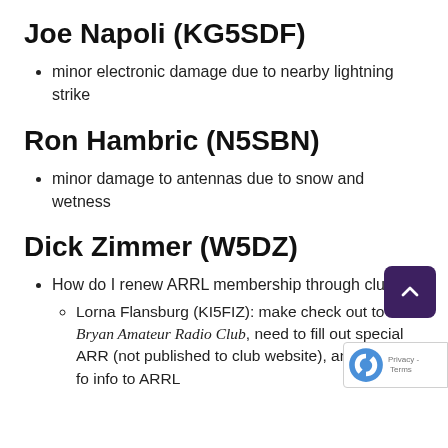Joe Napoli (KG5SDF)
minor electronic damage due to nearby lightning strike
Ron Hambric (N5SBN)
minor damage to antennas due to snow and wetness
Dick Zimmer (W5DZ)
How do I renew ARRL membership through club
Lorna Flansburg (KI5FIZ): make check out to Bryan Amateur Radio Club, need to fill out special ARRL (not published to club website), and club will forward info to ARRL